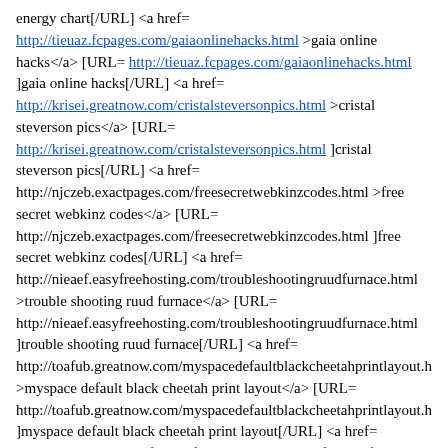energy chart[/URL] <a href= http://tieuaz.fcpages.com/gaiaonlinehacks.html >gaia online hacks</a> [URL= http://tieuaz.fcpages.com/gaiaonlinehacks.html ]gaia online hacks[/URL] <a href= http://krisei.greatnow.com/cristalsteversonpics.html >cristal steverson pics</a> [URL= http://krisei.greatnow.com/cristalsteversonpics.html ]cristal steverson pics[/URL] <a href= http://njczeb.exactpages.com/freesecretwebkinzcodes.html >free secret webkinz codes</a> [URL= http://njczeb.exactpages.com/freesecretwebkinzcodes.html ]free secret webkinz codes[/URL] <a href= http://nieaef.easyfreehosting.com/troubleshootingruudfurnace.html >trouble shooting ruud furnace</a> [URL= http://nieaef.easyfreehosting.com/troubleshootingruudfurnace.html ]trouble shooting ruud furnace[/URL] <a href= http://toafub.greatnow.com/myspacedefaultblackcheetahprintlayout.h >myspace default black cheetah print layout</a> [URL= http://toafub.greatnow.com/myspacedefaultblackcheetahprintlayout.h ]myspace default black cheetah print layout[/URL] <a href= http://cahskh.envy.nu/flavoroflovenudecom.html >flavor of love nude com</a> [URL= http://cahskh.envy.nu/flavoroflovenudecom.html ]flavor of love nude com[/URL] <a href= http://toafub.greatnow.com/prattvillehighschool.html >prattville